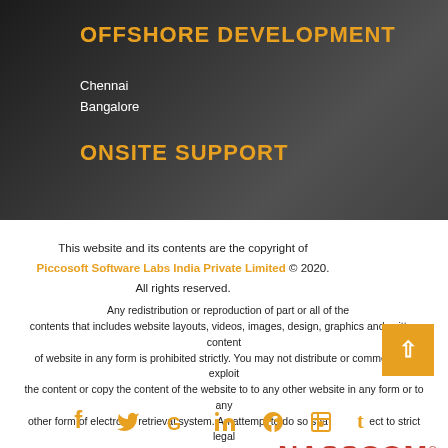OFFSHORE DEVELOPMENT
Chennai
Bangalore
ONSITE SUPPORT
This website and its contents are the copyright of Piccosoft Software Labs India Private Limited © 2020. All rights reserved.
[Figure (logo): NASSCOM Certified Member logo]
Any redistribution or reproduction of part or all of the contents that includes website layouts, videos, images, design, graphics and written content of website in any form is prohibited strictly. You may not distribute or commercially exploit the content or copy the content of the website to to any other website in any form or to any other form of electronic retrieval system. An attempt to do so shall be subject to strict legal action.
[Figure (infographic): Social media icons: Facebook, Twitter, Google+, LinkedIn, Pinterest, Tumblr in orange]